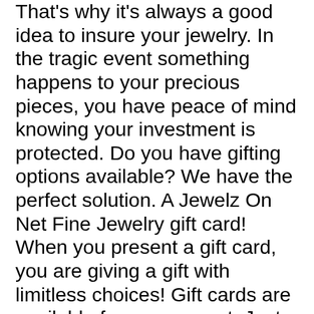That's why it's always a good idea to insure your jewelry. In the tragic event something happens to your precious pieces, you have peace of mind knowing your investment is protected. Do you have gifting options available? We have the perfect solution. A Jewelz On Net Fine Jewelry gift card! When you present a gift card, you are giving a gift with limitless choices! Gift cards are available for any amount. Just send us a message. How can I request more information regarding a specific piece Carat weight, metal weight, stone clarity, whether or not a gemstone is natural or created, measurements etc. Although most of the information is available in the item details section, if we still miss out on a certain information please write to us and a jewelry professional will get connected with answers. Do you offer ring sizing